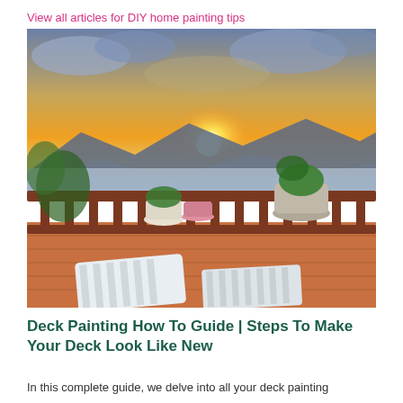View all articles for DIY home painting tips
[Figure (photo): A deck with a railing painted in dark red/brown wood, two lounge chairs, potted plants, and a scenic sunset view over mountains and a lake in the background.]
Deck Painting How To Guide | Steps To Make Your Deck Look Like New
In this complete guide, we delve into all your deck painting